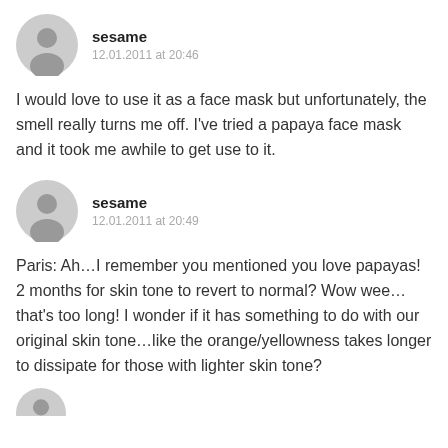sesame
12.01.2011 at 20:46
I would love to use it as a face mask but unfortunately, the smell really turns me off. I've tried a papaya face mask and it took me awhile to get use to it.
sesame
12.01.2011 at 20:49
Paris: Ah…I remember you mentioned you love papayas! 2 months for skin tone to revert to normal? Wow wee…that's too long! I wonder if it has something to do with our original skin tone…like the orange/yellowness takes longer to dissipate for those with lighter skin tone?